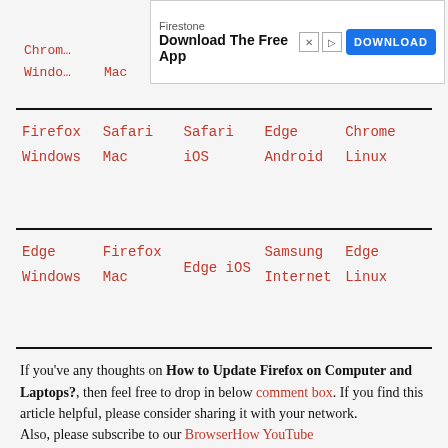[Figure (screenshot): Advertisement banner: Firestone Download The Free App with a blue DOWNLOAD button]
| Chrom… |  |  |  | …efox |
| Windo… | Mac | iOS | Android | Linux |
| Firefox
Windows | Safari
Mac | Safari
iOS | Edge
Android | Chrome
Linux |
| Edge
Windows | Firefox
Mac | Edge iOS | Samsung Internet | Edge
Linux |
If you've any thoughts on How to Update Firefox on Computer and Laptops?, then feel free to drop in below comment box. If you find this article helpful, please consider sharing it with your network.
Also, please subscribe to our BrowserHow YouTube channel for helpful videos tutorials.